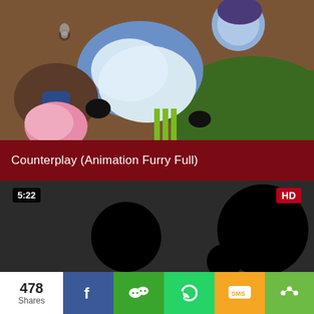[Figure (screenshot): Animated furry video thumbnail showing cartoon characters in blue and white on a green background]
Counterplay (Animation Furry Full)
[Figure (screenshot): Video preview area with dark background, time badge 5:22, HD badge, and black censoring circles]
478 Shares
[Figure (infographic): Social share bar with Facebook, WeChat, WhatsApp, SMS, and generic share buttons]